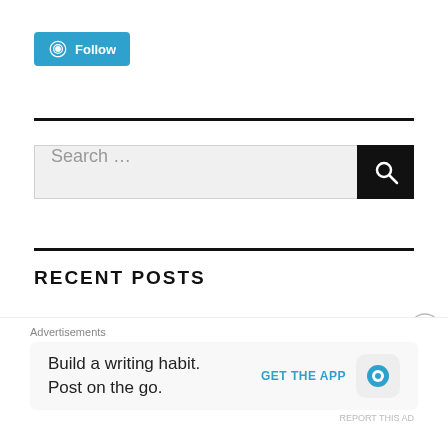[Figure (logo): WordPress Follow button with WP logo icon and 'Follow' text on blue background]
[Figure (screenshot): Search bar with text 'Search ...' and black search button with magnifying glass icon]
RECENT POSTS
Recent Posts about Ukraine war
some notes books from the past
[Figure (screenshot): Advertisement bar: 'Advertisements' label, 'Build a writing habit. Post on the go.' with 'GET THE APP' and WordPress logo, close button, REPORT THIS AD link]